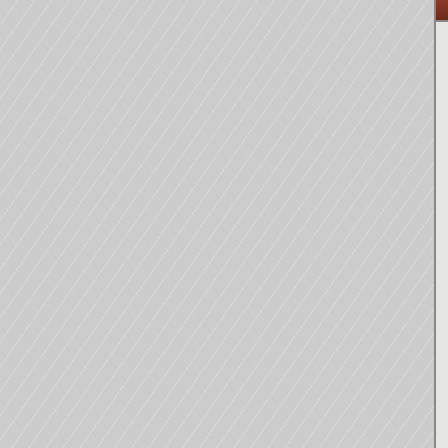[Figure (photo): Partial view of a tin sign with red band at top showing 'NO SO...' text, and white section below with black bold text 'We are too broke to buy anything...' and 'We know...' and 'are yo...' - cropped product sign image at top right of page]
NO SO...
We are too broke to buy anything; have found Jesus. Seriously, un... PLEASE...
12" x 8.25" tin sign features rolled edg... pre-punched cor... Item #...
Add t...
[Figure (photo): Partial view of a second tin sign product with dark brown/red border, red band at top with white text 'NO SO...' in bold, and white area below with large black bold text reading 'We are', 'to buy', 'We kno', 'are yo']